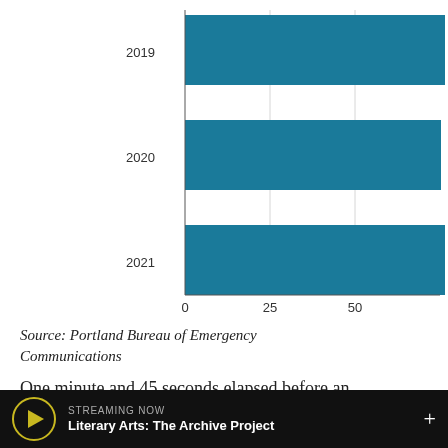[Figure (bar-chart): How many seconds it took from when a 911 call was answered]
How many seconds it took from when a 911 call was answered
Source: Portland Bureau of Emergency Communications
One minute and 45 seconds elapsed before an
STREAMING NOW
Literary Arts: The Archive Project